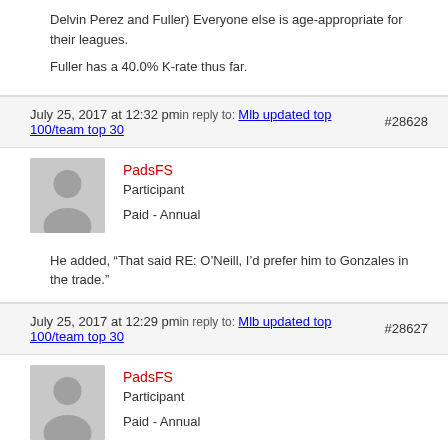Delvin Perez and Fuller) Everyone else is age-appropriate for their leagues.
Fuller has a 40.0% K-rate thus far.
July 25, 2017 at 12:32 pm in reply to: Mlb updated top 100/team top 30 #28628
PadsFS
Participant
Paid - Annual
He added, “That said RE: O’Neill, I’d prefer him to Gonzales in the trade.”
July 25, 2017 at 12:29 pm in reply to: Mlb updated top 100/team top 30 #28627
PadsFS
Participant
Paid - Annual
Twitter is blocked at my work, but Jim Callis responded to my tweet about O’Neill.